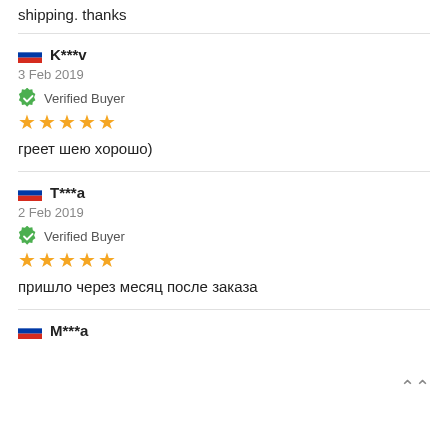shipping. thanks
K***v
3 Feb 2019
Verified Buyer
★★★★★
греет шею хорошо)
T***a
2 Feb 2019
Verified Buyer
★★★★★
пришло через месяц после заказа
M***a